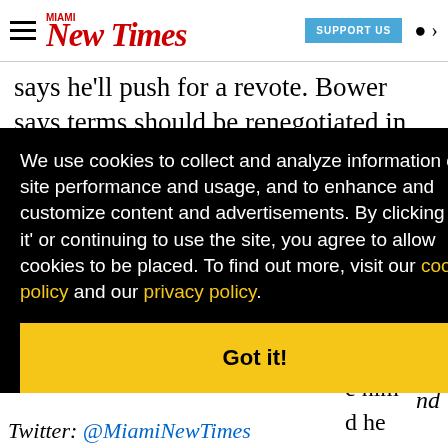Miami New Times — SUPPORT US
says he'll push for a revote. Bower says terms should be renegotiated in private.
We use cookies to collect and analyze information on site performance and usage, and to enhance and customize content and advertisements. By clicking 'Got it' or continuing to use the site, you agree to allow cookies to be placed. To find out more, visit our cookies policy and our privacy policy.
Got it!
nd
Twitter: @MiamiNewTimes